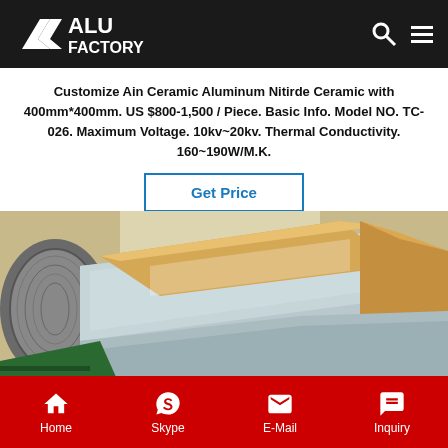ALU FACTORY
Customize Ain Ceramic Aluminum Nitirde Ceramic with 400mm*400mm. US $800-1,500 / Piece. Basic Info. Model NO. TC-026. Maximum Voltage. 10kv~20kv. Thermal Conductivity. 160~190W/M.K.
Get Price
[Figure (photo): Close-up photo of aluminum/metal sheets stacked with protective paper/cardboard packaging, and industrial roll in background]
Home  Skype  E-Mail  Inquiry